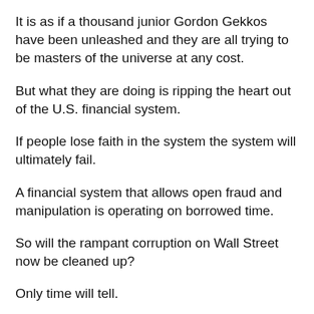It is as if a thousand junior Gordon Gekkos have been unleashed and they are all trying to be masters of the universe at any cost.
But what they are doing is ripping the heart out of the U.S. financial system.
If people lose faith in the system the system will ultimately fail.
A financial system that allows open fraud and manipulation is operating on borrowed time.
So will the rampant corruption on Wall Street now be cleaned up?
Only time will tell.